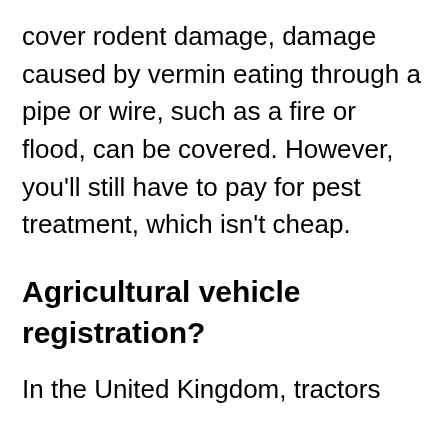cover rodent damage, damage caused by vermin eating through a pipe or wire, such as a fire or flood, can be covered. However, you'll still have to pay for pest treatment, which isn't cheap.
Agricultural vehicle registration?
In the United Kingdom, tractors